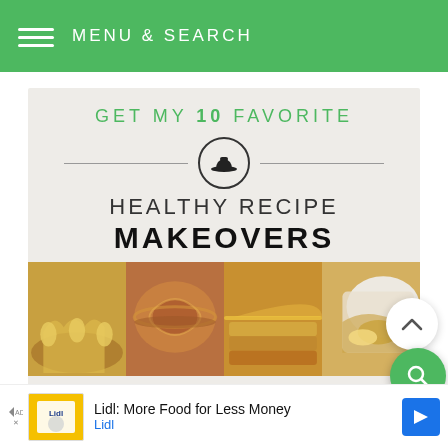MENU & SEARCH
[Figure (infographic): Promotional banner: GET MY 10 FAVORITE HEALTHY RECIPE MAKEOVERS with bowler hat icon and food photos (cheesecake, donut, pancakes, crumble)]
[Figure (infographic): Advertisement banner: Lidl: More Food for Less Money - Lidl logo with blue navigation arrow icon]